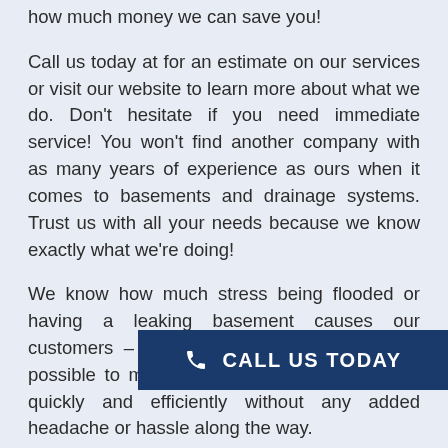how much money we can save you!
Call us today at for an estimate on our services or visit our website to learn more about what we do. Don't hesitate if you need immediate service! You won't find another company with as many years of experience as ours when it comes to basements and drainage systems. Trust us with all your needs because we know exactly what we're doing!
We know how much stress being flooded or having a leaking basement causes our customers – which is why we do everything possible to make sure they are taken care of quickly and efficiently without any added headache or hassle along the way.
INTERIOR FRENCH DRAIN
A french drain is a water-draining pipe that goes under the ground. They may be open or closed
[Figure (other): Call Us Today CTA button with phone icon, dark blue background]